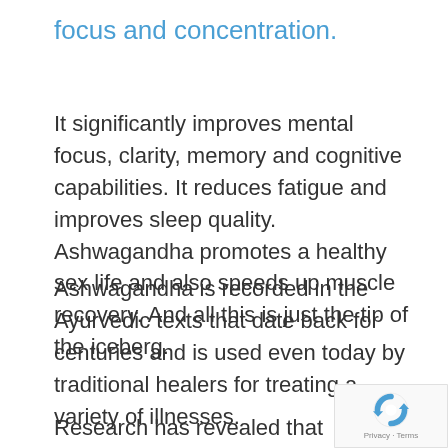focus and concentration.
It significantly improves mental focus, clarity, memory and cognitive capabilities. It reduces fatigue and improves sleep quality. Ashwagandha promotes a healthy sex life and also speeds up muscle recovery. And all this is just the tip of the iceberg.
Ashwagandha is recorded in the Ayurvedic texts that date back for centuries and is used even today by traditional healers for treating a variety of illnesses.
Research has revealed that ashwagandha
[Figure (logo): reCAPTCHA badge with Privacy and Terms text]